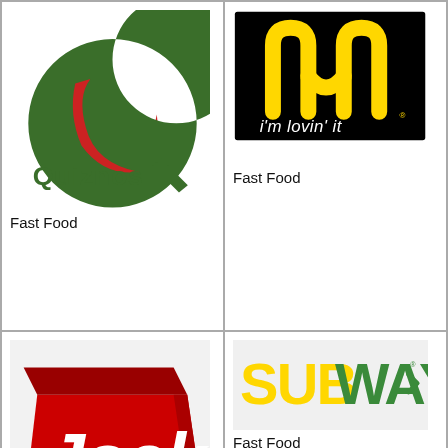[Figure (logo): Quiznos logo - green and red Q with 'Quiznos' text in green]
Fast Food
[Figure (logo): McDonald's logo - golden arches M on black background with 'i'm lovin' it' tagline]
Fast Food
[Figure (logo): Jack in the Box logo - red 3D box with 'Jack' in white text and 'in the box' in red below]
Fast Food
[Figure (logo): Subway logo - yellow and green SUBWAY text with arrow]
Fast Food
[Figure (other): Submit button image placeholder]
Golf Coupons
[Figure (other): Submit button image placeholder]
Grocery